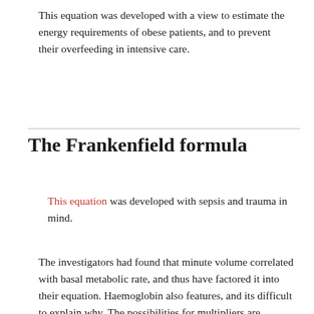This equation was developed with a view to estimate the energy requirements of obese patients, and to prevent their overfeeding in intensive care.
The Frankenfield formula
This equation was developed with sepsis and trauma in mind.
The investigators had found that minute volume correlated with basal metabolic rate, and thus have factored it into their equation. Haemoglobin also features, and its difficult to explain why. The possibilities for multipliers are endless; the investigators found a coefficient which one can use to multiply their dobutamine dose, thereby factoring it into